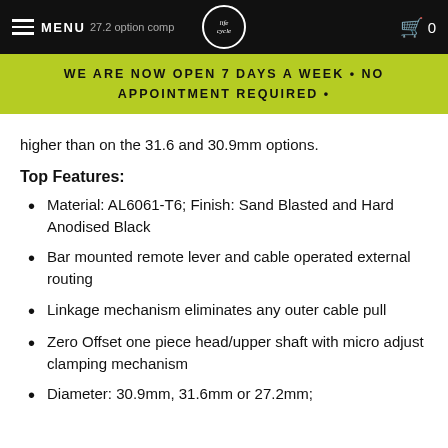MENU  27.2 option compatible with the 2/3x Paddle  0
WE ARE NOW OPEN 7 DAYS A WEEK • NO APPOINTMENT REQUIRED •
higher than on the 31.6 and 30.9mm options.
Top Features:
Material: AL6061-T6; Finish: Sand Blasted and Hard Anodised Black
Bar mounted remote lever and cable operated external routing
Linkage mechanism eliminates any outer cable pull
Zero Offset one piece head/upper shaft with micro adjust clamping mechanism
Diameter: 30.9mm, 31.6mm or 27.2mm;